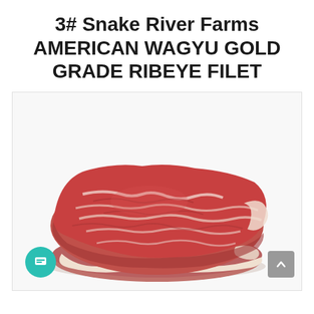3# Snake River Farms AMERICAN WAGYU GOLD GRADE RIBEYE FILET
[Figure (photo): A large raw ribeye filet steak from Snake River Farms, American Wagyu Gold Grade, showing rich marbling with red meat and white fat, photographed on a white background.]